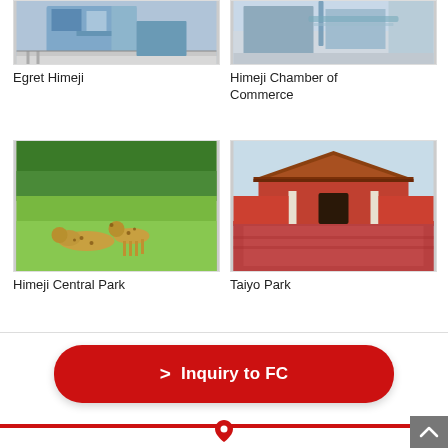[Figure (photo): Egret Himeji building exterior - modern architecture with glass and geometric shapes]
Egret Himeji
[Figure (photo): Himeji Chamber of Commerce building exterior with bridge/walkway structure]
Himeji Chamber of Commerce
[Figure (photo): Himeji Central Park - two cheetahs on green grass field]
Himeji Central Park
[Figure (photo): Taiyo Park - traditional Chinese-style red gate building with large courtyard]
Taiyo Park
Inquiry to FC